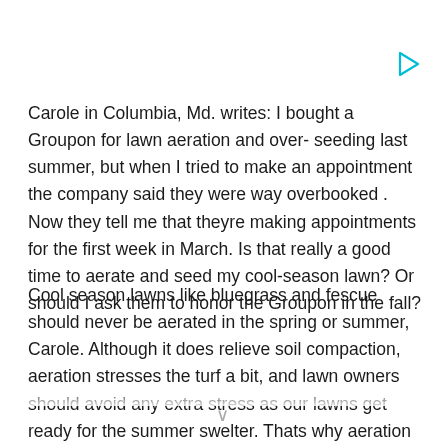[Figure (other): Small cyan/teal play button triangle icon in top right area]
Carole in Columbia, Md. writes: I bought a Groupon for lawn aeration and over- seeding last summer, but when I tried to make an appointment the company said they were way overbooked . Now they tell me that theyre making appointments for the first week in March. Is that really a good time to aerate and seed my cool-season lawn? Or should I ask them to honor the Groupon in the fall?
Cool season lawns like bluegrass and fescue should never be aerated in the spring or summer, Carole. Although it does relieve soil compaction, aeration stresses the turf a bit, and lawn owners should avoid any extra stress as our lawns get ready for the summer swelter. Thats why aeration should